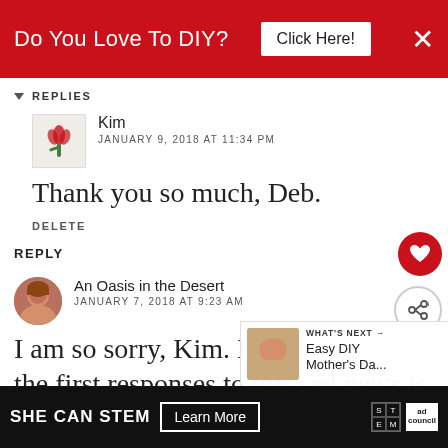[Figure (screenshot): Red advertisement banner at top: 'Do You Love To DIY?' with 'Click Here!' button and X close button]
REPLIES
Kim
JANUARY 9, 2018 AT 11:34 PM
Thank you so much, Deb.
DELETE
REPLY
An Oasis in the Desert
JANUARY 7, 2018 AT 9:23 AM
I am so sorry, Kim. I kno... the first responses to this sad news is
[Figure (screenshot): What's Next panel: thumbnail image with text 'WHAT'S NEXT → Easy DIY Mother's Da...']
[Figure (screenshot): Bottom advertisement: SHE CAN STEM - Learn More - STEM and Ad Council logos]